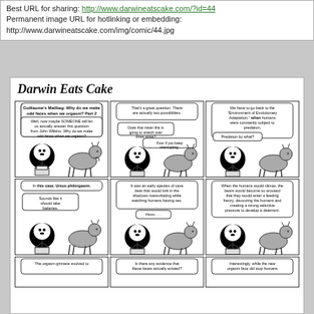Best URL for sharing: http://www.darwineatscake.com/?id=44
Permanent image URL for hotlinking or embedding:
http://www.darwineatscake.com/img/comic/44.jpg
Darwin Eats Cake
[Figure (illustration): A 3x2 comic strip grid plus partial 3rd row showing 'Darwin Eats Cake' webcomic panels featuring a girl with black hair and a goat discussing evolutionary biology and orgasm faces. Panel 1: Guillaume's Mailbag title, girl asks why we make odd faces when we orgasm. Panel 2: Goat says two possibilities, girl asks if it will stretch over three strips, goat says four if she keeps interrupting. Panel 3: We have to go back to the Environment of Evolutionary Adaptation when humans were subject to predation. Predation by what? Panel 4: In this case, Ursus philorgasmi. Sounds like it should take batteries. Panel 5: It was an early species of cave bear that would lurk in the shadows masturbating while watching humans having sex. Hmm... Panel 6: When the humans would climax the bears would become so aroused they would enter a feeding frenzy devouring the humans creating a strong selective pressure to develop a deterrent. Partial row: The orgasm grimace evolved to... / Is there any evidence that these bears actually existed? / Interestingly, while the new orgasm face did stop humans]